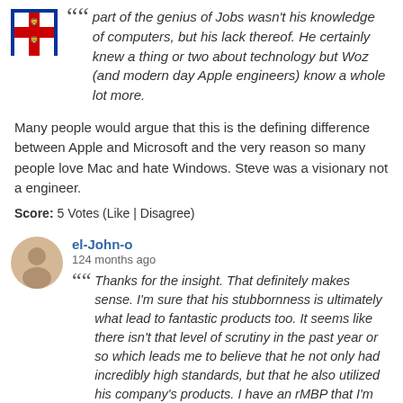[Figure (illustration): England football crest logo at top left, red cross on white with three lions, partially visible]
part of the genius of Jobs wasn't his knowledge of computers, but his lack thereof. He certainly knew a thing or two about technology but Woz (and modern day Apple engineers) know a whole lot more.
Many people would argue that this is the defining difference between Apple and Microsoft and the very reason so many people love Mac and hate Windows. Steve was a visionary not a engineer.
Score: 5 Votes (Like | Disagree)
[Figure (illustration): Generic user avatar — grey circle with silhouette of person, beige/tan color]
el-John-o
124 months ago
Thanks for the insight. That definitely makes sense. I'm sure that his stubbornness is ultimately what lead to fantastic products too. It seems like there isn't that level of scrutiny in the past year or so which leads me to believe that he not only had incredibly high standards, but that he also utilized his company's products. I have an rMBP that I'm pretty pleased with and became more pleased with as they work out the glaring nasties, but I could tell that they didn't actually use this machine much